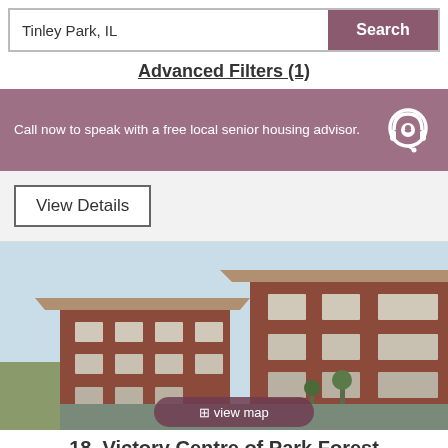Tinley Park, IL | Search
Advanced Filters (1)
Call now to speak with a free local senior housing advisor.
View Details
[Figure (photo): Exterior photo of a multi-story red brick senior housing building with tan accents and large windows, taken from street level with a clear sky background. A 'view map' button overlay appears at the bottom center.]
18. Victory Centre of Park Forest